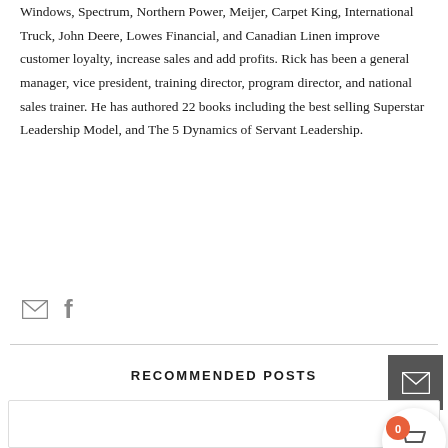Windows, Spectrum, Northern Power, Meijer, Carpet King, International Truck, John Deere, Lowes Financial, and Canadian Linen improve customer loyalty, increase sales and add profits. Rick has been a general manager, vice president, training director, program director, and national sales trainer. He has authored 22 books including the best selling Superstar Leadership Model, and The 5 Dynamics of Servant Leadership.
[Figure (other): Social media icons: envelope/email icon and Facebook 'f' icon]
RECOMMENDED POSTS
[Figure (other): Gray email button square, circular cart button with badge showing 0]